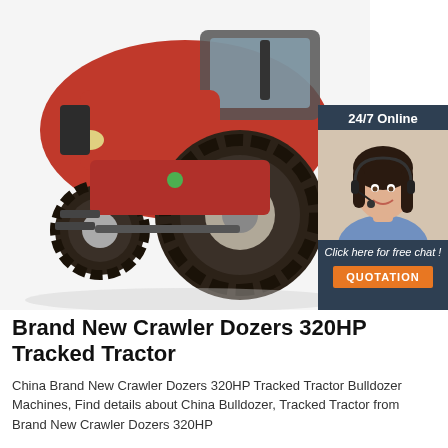[Figure (photo): Red tracked tractor/crawler dozer with large rear wheels, photographed on white background. A 24/7 online chat widget with a customer service agent is overlaid in the upper right corner, with 'Click here for free chat!' text and an orange QUOTATION button.]
Brand New Crawler Dozers 320HP Tracked Tractor
China Brand New Crawler Dozers 320HP Tracked Tractor Bulldozer Machines, Find details about China Bulldozer, Tracked Tractor from Brand New Crawler Dozers 320HP